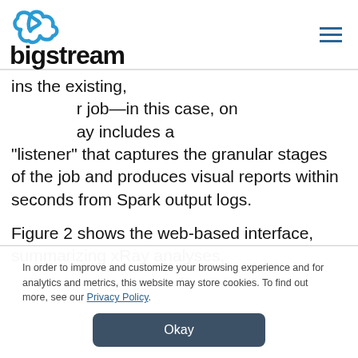bigstream
ins the existing, r job—in this case, on ay includes a "listener" that captures the granular stages of the job and produces visual reports within seconds from Spark output logs.
Figure 2 shows the web-based interface, summarizing xRay analyses,
In order to improve and customize your browsing experience and for analytics and metrics, this website may store cookies. To find out more, see our Privacy Policy.
Okay